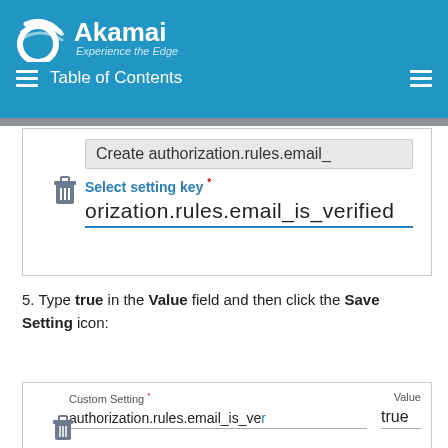[Figure (screenshot): Akamai branded header with logo, tagline 'Experience the Edge', hamburger menu icon, Table of Contents label, and right hamburger icon on blue background]
[Figure (screenshot): UI form showing 'Create authorization.rules.email_' text in dropdown and selected setting key field with value 'orization.rules.email_is_verified' underlined in blue]
5. Type true in the Value field and then click the Save Setting icon:
[Figure (screenshot): Custom Setting form row showing 'authorization.rules.email_is_ve' in key field and 'true' in Value field]